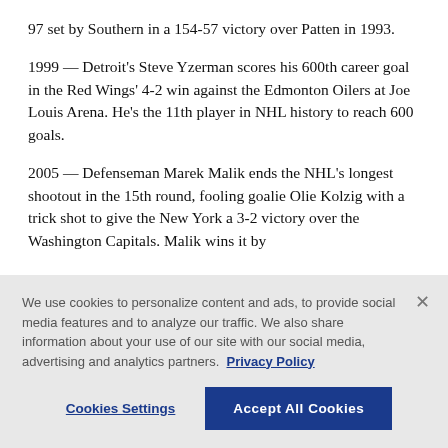97 set by Southern in a 154-57 victory over Patten in 1993.
1999 — Detroit's Steve Yzerman scores his 600th career goal in the Red Wings' 4-2 win against the Edmonton Oilers at Joe Louis Arena. He's the 11th player in NHL history to reach 600 goals.
2005 — Defenseman Marek Malik ends the NHL's longest shootout in the 15th round, fooling goalie Olie Kolzig with a trick shot to give the New York a 3-2 victory over the Washington Capitals. Malik wins it by
We use cookies to personalize content and ads, to provide social media features and to analyze our traffic. We also share information about your use of our site with our social media, advertising and analytics partners. Privacy Policy
Cookies Settings | Accept All Cookies